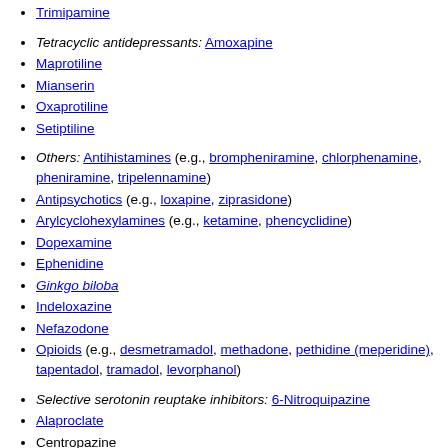Trimipamine
Tetracyclic antidepressants: Amoxapine
Maprotiline
Mianserin
Oxaprotiline
Setiptiline
Others: Antihistamines (e.g., brompheniramine, chlorphenamine, pheniramine, tripelennamine)
Antipsychotics (e.g., loxapine, ziprasidone)
Arylcyclohexylamines (e.g., ketamine, phencyclidine)
Dopexamine
Ephenidine
Ginkgo biloba
Indeloxazine
Nefazodone
Opioids (e.g., desmetramadol, methadone, pethidine (meperidine), tapentadol, tramadol, levorphanol)
Selective serotonin reuptake inhibitors: 6-Nitroquipazine
Alaproclate
Centropazine